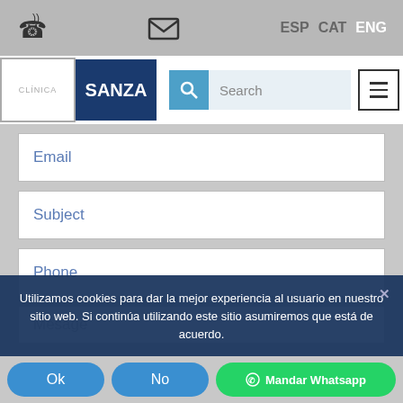ESP  CAT  ENG
[Figure (logo): Clinica Sanza logo with search bar and menu button]
Email
Subject
Phone
Mesage
Utilizamos cookies para dar la mejor experiencia al usuario en nuestro sitio web. Si continúa utilizando este sitio asumiremos que está de acuerdo.
Ok
No
Mandar Whatsapp